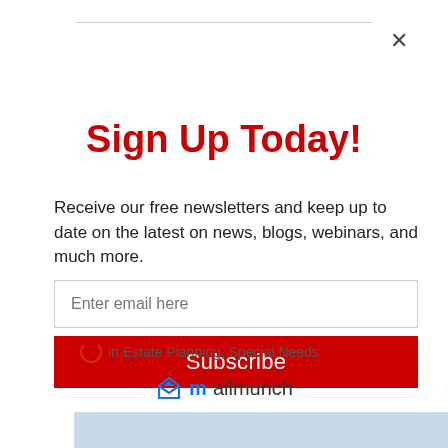Sign Up Today!
Receive our free newsletters and keep up to date on the latest on news, blogs, webinars, and much more.
Enter email here
Subscribe
in Estate Planning, Special Needs
[Figure (logo): Mailmunch logo with blue M icon and text 'mailmunch']